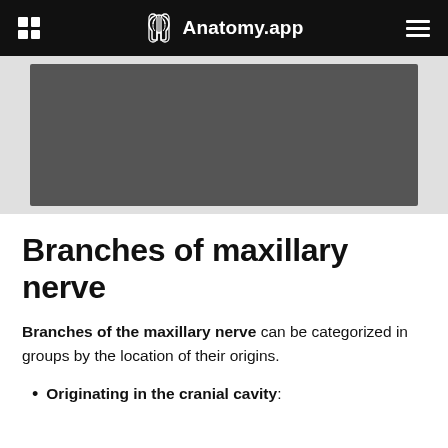Anatomy.app
[Figure (photo): Dark gray rectangular image placeholder showing an anatomical diagram area]
Branches of maxillary nerve
Branches of the maxillary nerve can be categorized in groups by the location of their origins.
Originating in the cranial cavity: